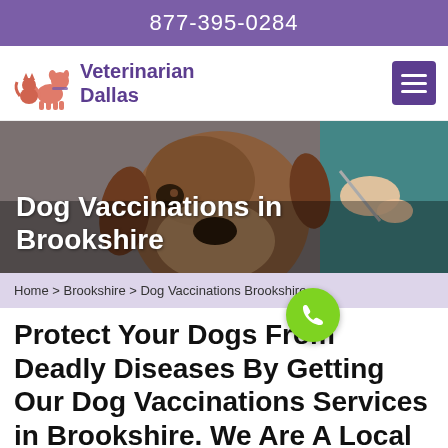877-395-0284
[Figure (logo): Veterinarian Dallas logo with illustrated cat and dog silhouettes in salmon/orange color]
Dog Vaccinations in Brookshire
[Figure (photo): A brown boxer dog being examined or vaccinated by a vet in teal scrubs, close-up shot]
Home > Brookshire > Dog Vaccinations Brookshire
Protect Your Dogs From Deadly Diseases By Getting Our Dog Vaccinations Services in Brookshire. We Are A Local Clinic Providing